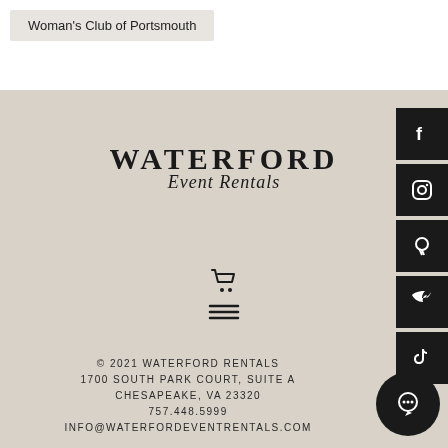Woman's Club of Portsmouth
[Figure (logo): Waterford Event Rentals logo with cart and hamburger menu icons]
© 2021 WATERFORD RENTALS
1700 SOUTH PARK COURT, SUITE A
CHESAPEAKE, VA 23320
757.448.5999
INFO@WATERFORDEVENTRENTALS.COM